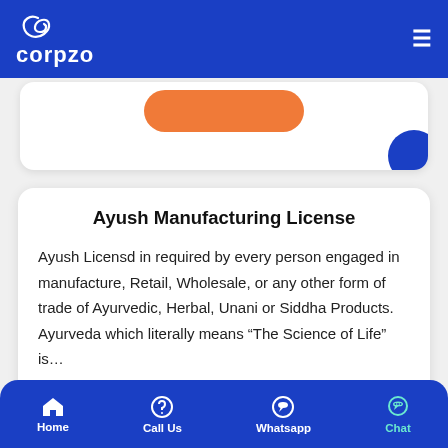[Figure (logo): Corpzo logo: stylized looping icon and word 'corpzo' in white on blue header]
[Figure (screenshot): Partially visible white card with orange rounded button at top]
Ayush Manufacturing License
Ayush Licensd in required by every person engaged in manufacture, Retail, Wholesale, or any other form of trade of Ayurvedic, Herbal, Unani or Siddha Products. Ayurveda which literally means “The Science of Life” is…
[Figure (other): Orange 'Read More' rounded button]
Home   Call Us   Whatsapp   Chat